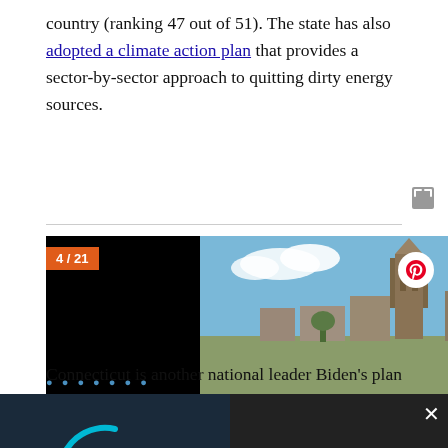country (ranking 47 out of 51). The state has also adopted a climate action plan that provides a sector-by-sector approach to quitting dirty energy sources.
[Figure (photo): Slideshow image 4 of 21 showing a cityscape with Gothic architecture (Yale University buildings in New Haven, CT) under a blue sky with clouds. Black panels on left and right sides. Pinterest share button visible in top right corner.]
[Figure (photo): Video of the Day overlay: thumbnail showing a river cruise at sunset with a teal loading arc. Title reads 'Video of the Day: - A River Cruise Through the Netherlands'. Dark background overlay with close (X) button.]
Connecticut is another national leader Biden's plan could look to for inspiration, with its Governor's Council on